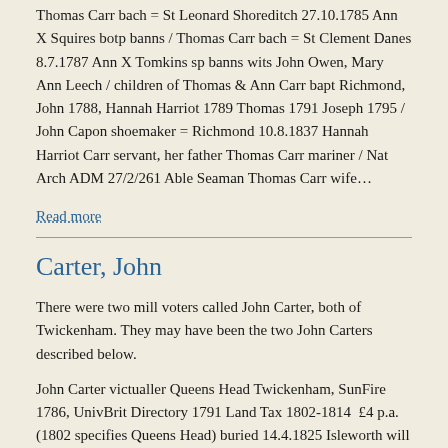Thomas Carr bach = St Leonard Shoreditch 27.10.1785 Ann X Squires botp banns / Thomas Carr bach = St Clement Danes 8.7.1787 Ann X Tomkins sp banns wits John Owen, Mary Ann Leech / children of Thomas & Ann Carr bapt Richmond, John 1788, Hannah Harriot 1789 Thomas 1791 Joseph 1795 / John Capon shoemaker = Richmond 10.8.1837 Hannah Harriot Carr servant, her father Thomas Carr mariner / Nat Arch ADM 27/2/261 Able Seaman Thomas Carr wife…
Read more
Carter, John
There were two mill voters called John Carter, both of Twickenham. They may have been the two John Carters described below.
John Carter victualler Queens Head Twickenham, SunFire 1786, UnivBrit Directory 1791 Land Tax 1802-1814  £4 p.a.(1802 specifies Queens Head) buried 14.4.1825 Isleworth will PCC dated 2.3.1825 proved 18.6.1825 mentioned wife and children but didn't name them, exec Thomas Clark victualler of Hammersmith. perhaps the John Carter bach otp = Twickenham 18.10.1812 Ann Gaines sp botp banns wits Samuel &